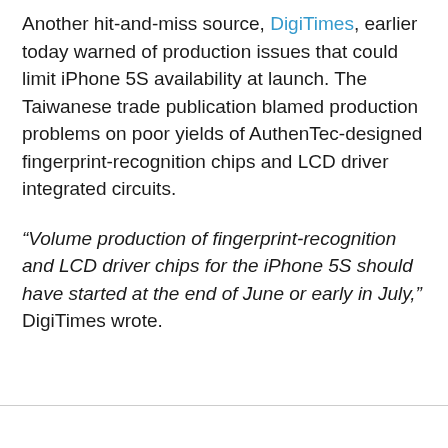Another hit-and-miss source, DigiTimes, earlier today warned of production issues that could limit iPhone 5S availability at launch. The Taiwanese trade publication blamed production problems on poor yields of AuthenTec-designed fingerprint-recognition chips and LCD driver integrated circuits.
“Volume production of fingerprint-recognition and LCD driver chips for the iPhone 5S should have started at the end of June or early in July,” DigiTimes wrote.